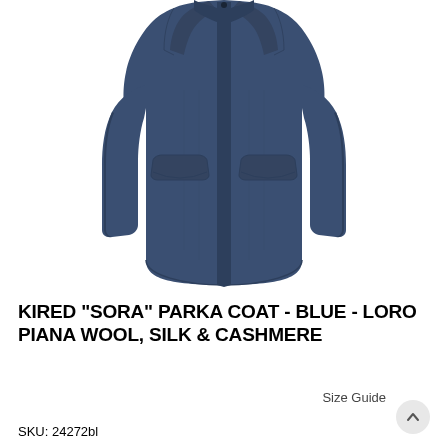[Figure (photo): Navy blue Kired Sora parka coat displayed on a white background, showing front view with two flap pockets and hidden button/zip placket]
KIRED "SORA" PARKA COAT - BLUE - LORO PIANA WOOL, SILK & CASHMERE
Size Guide
SKU: 24272bl